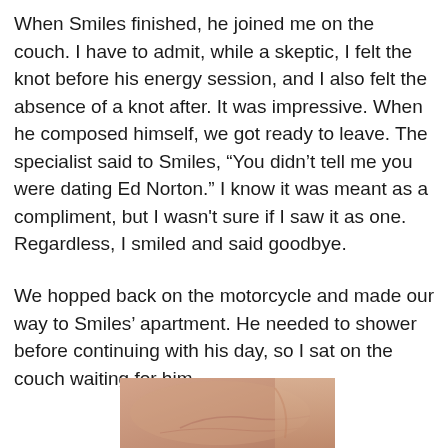When Smiles finished, he joined me on the couch. I have to admit, while a skeptic, I felt the knot before his energy session, and I also felt the absence of a knot after. It was impressive. When he composed himself, we got ready to leave. The specialist said to Smiles, “You didn’t tell me you were dating Ed Norton.” I know it was meant as a compliment, but I wasn't sure if I saw it as one. Regardless, I smiled and said goodbye.
We hopped back on the motorcycle and made our way to Smiles’ apartment. He needed to shower before continuing with his day, so I sat on the couch waiting for him.
[Figure (photo): A close-up photo of a person's bare torso/chest and hand, skin tones visible, cropped at the bottom of the page.]